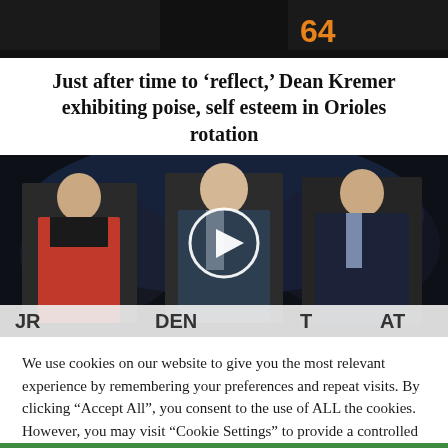[Figure (photo): Top portion of a baseball player wearing an Orioles jersey with number 64, dark background]
Just after time to ‘reflect,’ Dean Kremer exhibiting poise, self esteem in Orioles rotation
[Figure (photo): Video thumbnail showing three politicians on a debate stage: a woman in a red jacket on the left, an older man with white hair in the center, and an older man in a dark suit on the right. A play button overlay is visible in the center. Partial text banners visible at the bottom showing letters JR, DEN, T, AT.]
We use cookies on our website to give you the most relevant experience by remembering your preferences and repeat visits. By clicking “Accept All”, you consent to the use of ALL the cookies. However, you may visit "Cookie Settings" to provide a controlled consent.
Cookie Settings
Accept All